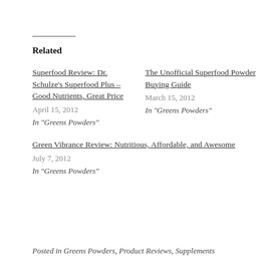Related
Superfood Review: Dr. Schulze's Superfood Plus – Good Nutrients, Great Price
April 15, 2012
In "Greens Powders"
The Unofficial Superfood Powder Buying Guide
March 15, 2012
In "Greens Powders"
Green Vibrance Review: Nutritious, Affordable, and Awesome
July 7, 2012
In "Greens Powders"
Posted in Greens Powders, Product Reviews, Supplements